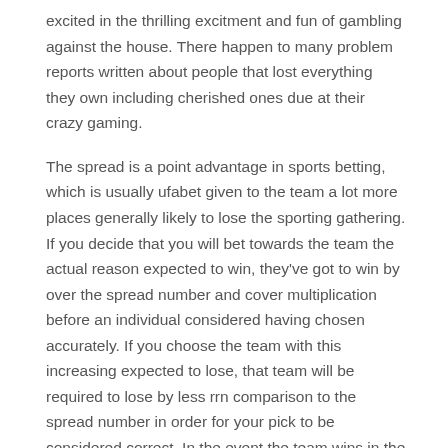excited in the thrilling excitment and fun of gambling against the house. There happen to many problem reports written about people that lost everything they own including cherished ones due at their crazy gaming.
The spread is a point advantage in sports betting, which is usually ufabet given to the team a lot more places generally likely to lose the sporting gathering. If you decide that you will bet towards the team the actual reason expected to win, they've got to win by over the spread number and cover multiplication before an individual considered having chosen accurately. If you choose the team with this increasing expected to lose, that team will be required to lose by less rrn comparison to the spread number in order for your pick to be considered correct. In the event the team wins in the number of points which are chosen even though the spread, the is termed as push.
In order to succeed and win consistently you must gain all